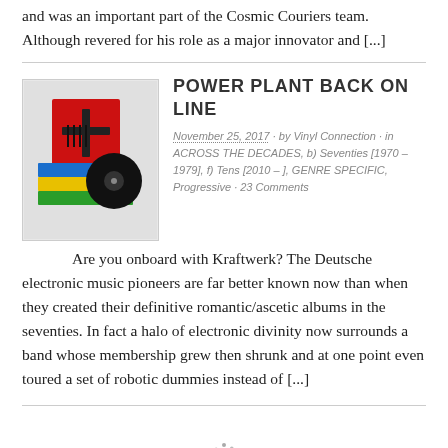and was an important part of the Cosmic Couriers team. Although revered for his role as a major innovator and [...]
POWER PLANT BACK ON LINE
November 25, 2017 · by Vinyl Connection · in ACROSS THE DECADES, b) Seventies [1970 – 1979], f) Tens [2010 – ], GENRE SPECIFIC, Progressive · 23 Comments
[Figure (photo): Album box set with colorful vinyl records including a Kraftwerk collection]
Are you onboard with Kraftwerk? The Deutsche electronic music pioneers are far better known now than when they created their definitive romantic/ascetic albums in the seventies. In fact a halo of electronic divinity now surrounds a band whose membership grew then shrunk and at one point even toured a set of robotic dummies instead of [...]